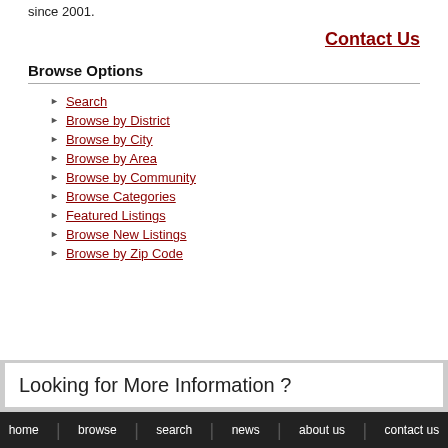since 2001.
Contact Us
Browse Options
Search
Browse by District
Browse by City
Browse by Area
Browse by Community
Browse Categories
Featured Listings
Browse New Listings
Browse by Zip Code
Looking for More Information ?
home  browse  search  news  about us  contact us